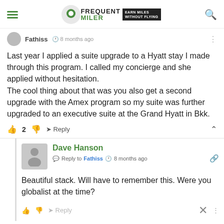Frequent Miler - Earn Miles Without Flying
Fathiss • 8 months ago
Last year I applied a suite upgrade to a Hyatt stay I made through this program. I called my concierge and she applied without hesitation.
The cool thing about that was you also get a second upgrade with the Amex program so my suite was further upgraded to an executive suite at the Grand Hyatt in Bkk.
2  Reply
Dave Hanson
Reply to Fathiss • 8 months ago
Beautiful stack. Will have to remember this. Were you globalist at the time?